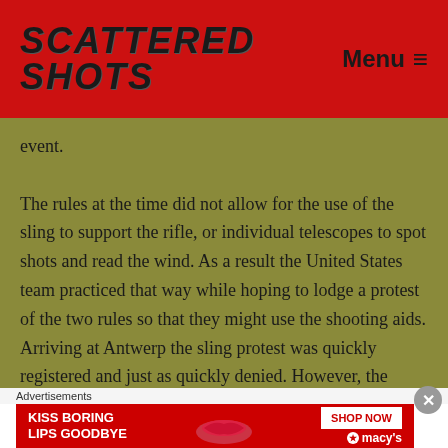Scattered Shots | Menu
event.
The rules at the time did not allow for the use of the sling to support the rifle, or individual telescopes to spot shots and read the wind. As a result the United States team practiced that way while hoping to lodge a protest of the two rules so that they might use the shooting aids. Arriving at Antwerp the sling protest was quickly registered and just as quickly denied. However, the United States shooters were unexpectedly allowed to use their spotting
Advertisements
[Figure (photo): Advertisement banner: KISS BORING LIPS GOODBYE - SHOP NOW - macy's]